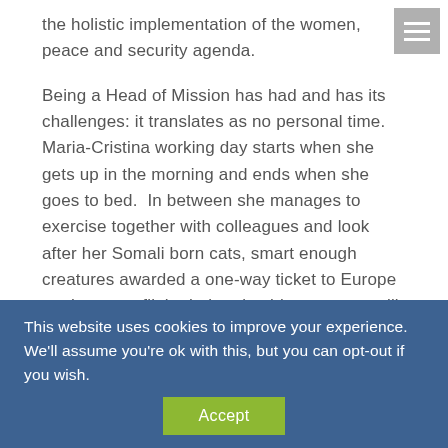the holistic implementation of the women, peace and security agenda.
Being a Head of Mission has had and has its challenges: it translates as no personal time. Maria-Cristina working day starts when she gets up in the morning and ends when she goes to bed.  In between she manages to exercise together with colleagues and look after her Somali born cats, smart enough creatures awarded a one-way ticket to Europe on the same flight their animal-lover owner will be boarding to return home.
This website uses cookies to improve your experience. We'll assume you're ok with this, but you can opt-out if you wish.